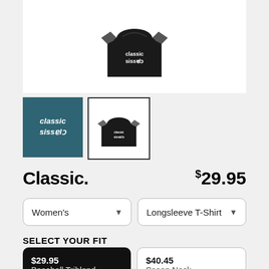[Figure (photo): Black baseball triblend longsleeve t-shirt with Classic logo, shown on white background]
[Figure (thumbnail): Classic brand logo on teal background thumbnail]
[Figure (photo): Small thumbnail of the black longsleeve baseball t-shirt, selected (bordered)]
Classic.
$29.95
Women's
Longsleeve T-Shirt
SELECT YOUR FIT
$29.95
Baseball Triblend
$40.45
Scoop Neck